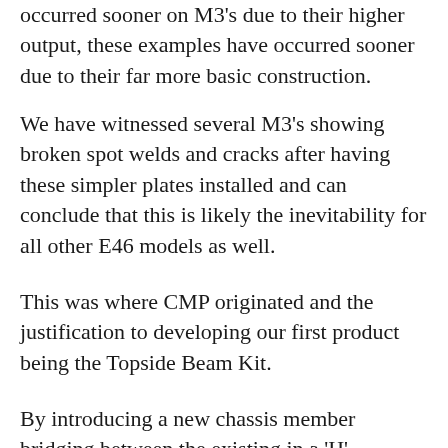occurred sooner on M3's due to their higher output, these examples have occurred sooner due to their far more basic construction.
We have witnessed several M3's showing broken spot welds and cracks after having these simpler plates installed and can conclude that this is likely the inevitability for all other E46 models as well.
This was where CMP originated and the justification to developing our first product being the Topside Beam Kit.
By introducing a new chassis member bridging between the existing in a 'H' configuration we were able to link the female threaded inserts the subframe bolts into directly to the chassis rails providing the shortest possible load path and increasing rigidity